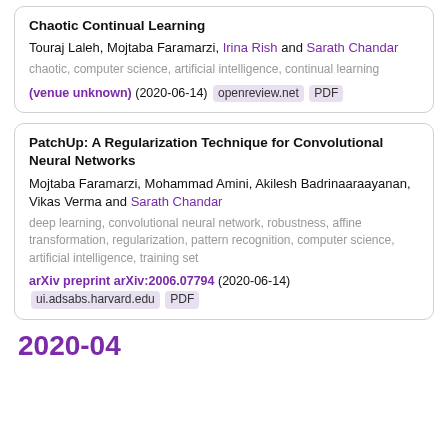Chaotic Continual Learning
Touraj Laleh, Mojtaba Faramarzi, Irina Rish and Sarath Chandar
chaotic, computer science, artificial intelligence, continual learning
(venue unknown) (2020-06-14) openreview.net PDF
PatchUp: A Regularization Technique for Convolutional Neural Networks
Mojtaba Faramarzi, Mohammad Amini, Akilesh Badrinaaraayanan, Vikas Verma and Sarath Chandar
deep learning, convolutional neural network, robustness, affine transformation, regularization, pattern recognition, computer science, artificial intelligence, training set
arXiv preprint arXiv:2006.07794 (2020-06-14) ui.adsabs.harvard.edu PDF
2020-04